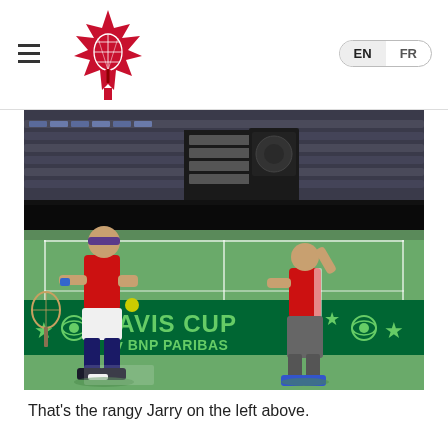Tennis Canada website header with logo, hamburger menu, EN / FR language switcher
[Figure (photo): Two people on an indoor tennis court at a Davis Cup by BNP Paribas event. On the left, a tall player in a red shirt, white shorts, dark headband, blue wristband, holding a tennis racket and yellow ball. On the right, a shorter man in a red polo and grey pants with arm raised. Stadium seating visible in the background. Green banner reads 'DAVIS CUP by BNP PARIBAS'.]
That's the rangy Jarry on the left above.